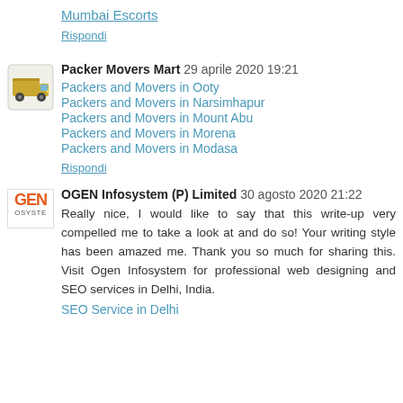Mumbai Escorts
Rispondi
Packer Movers Mart  29 aprile 2020 19:21
Packers and Movers in Ooty
Packers and Movers in Narsimhapur
Packers and Movers in Mount Abu
Packers and Movers in Morena
Packers and Movers in Modasa
Rispondi
OGEN Infosystem (P) Limited  30 agosto 2020 21:22
Really nice, I would like to say that this write-up very compelled me to take a look at and do so! Your writing style has been amazed me. Thank you so much for sharing this. Visit Ogen Infosystem for professional web designing and SEO services in Delhi, India.
SEO Service in Delhi